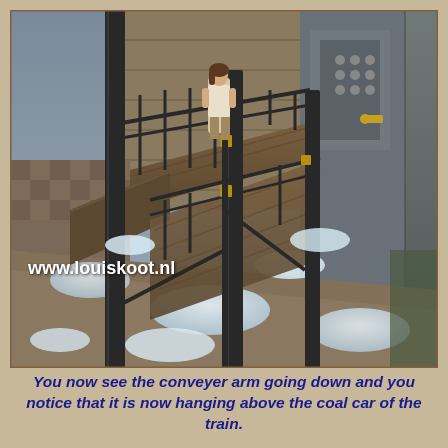[Figure (screenshot): Screenshot from a video game (Syberia or similar adventure game) showing a female character standing on an elevated metal walkway/platform in an industrial setting. The scene includes metal railings, pipes, wooden planks, industrial machinery with control panels, and snow on the ground below. The watermark 'www.louiskoot.nl' is visible in white bold text on the lower-left of the image.]
You now see the conveyer arm going down and you notice that it is now hanging above the coal car of the train.